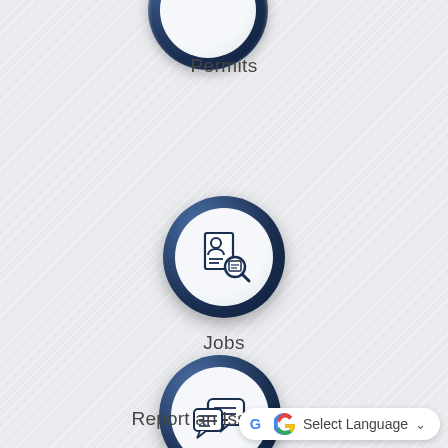[Figure (illustration): Circular icon button for Permits (partially visible at top of page) — dark navy blue ring border with light gray inner circle]
Permits
[Figure (illustration): Circular icon button for Jobs — dark navy blue ring border with light gray inner circle containing a document-with-magnifying-glass icon]
Jobs
[Figure (illustration): Circular icon button for Report an Issue — dark navy blue ring border with light gray inner circle containing chat/speech bubble icon]
Report an Issue
[Figure (screenshot): Google Translate language selector widget — white pill-shaped button with Google G logo, 'Select Language' text, and dropdown chevron]